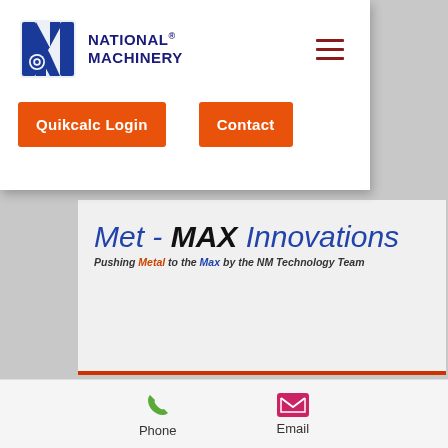[Figure (logo): National Machinery logo with blue N and gear icon, text reads NATIONAL® MACHINERY]
[Figure (infographic): Hamburger menu icon with three dark red horizontal bars]
Quikcalc Login
Contact
Met - MAX Innovations
Pushing Metal to the Max by the NM Technology Team
[Figure (screenshot): Dark rounded rectangle card area, partially visible]
Phone
Email